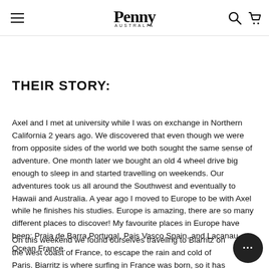Penny Australia — site navigation, search, cart
THEIR STORY:
Axel and I met at university while I was on exchange in Northern California 2 years ago. We discovered that even though we were from opposite sides of the world we both sought the same sense of adventure. One month later we bought an old 4 wheel drive big enough to sleep in and started travelling on weekends. Our adventures took us all around the Southwest and eventually to Hawaii and Australia. A year ago I moved to Europe to be with Axel while he finishes his studies. Europe is amazing, there are so many different places to discover! My favourite places in Europe have been: Praia de Barra Portugal, Pais Vasco Spain, and Lacanau-Ocean France.
On this weekend we found ourselves traveling to Biarritz on the west coast of France, to escape the rain and cold of Paris. Biarritz is where surfing in France was born, so it has a really cool